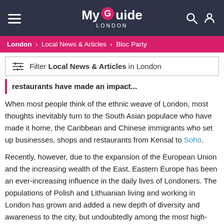My Guide London
London > Local News & Articles > Bloc Party
Filter Local News & Articles in London
restaurants have made an impact...
When most people think of the ethnic weave of London, most thoughts inevitably turn to the South Asian populace who have made it home, the Caribbean and Chinese immigrants who set up businesses, shops and restaurants from Kensal to Soho.
Recently, however, due to the expansion of the European Union and the increasing wealth of the East, Eastern Europe has been an ever-increasing influence in the daily lives of Londoners. The populations of Polish and Lithuanian living and working in London has grown and added a new depth of diversity and awareness to the city, but undoubtedly among the most high-profile arrivals are the Russians.